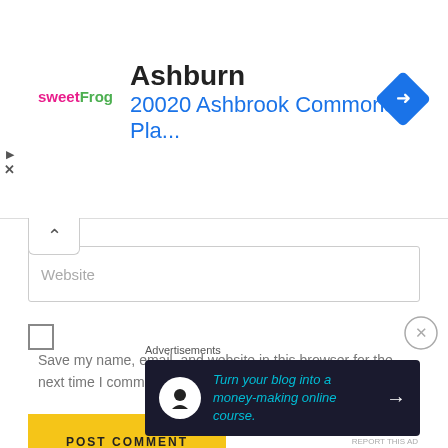[Figure (screenshot): Ad banner showing sweetFrog logo, Ashburn location, address 20020 Ashbrook Commons Pla..., and a blue navigation diamond icon]
Website
Save my name, email, and website in this browser for the next time I comment.
POST COMMENT
This site uses Akismet to reduce spam. Learn how your comment data is processed.
Advertisements
[Figure (screenshot): Dark banner ad: Turn your blog into a money-making online course. with arrow]